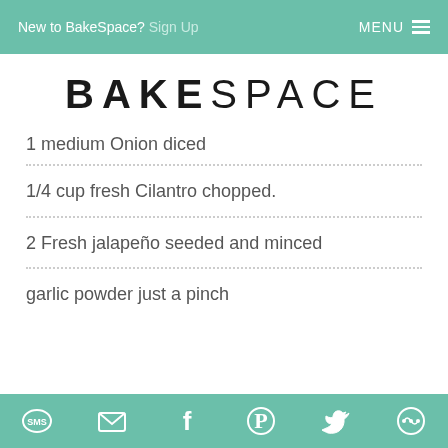New to BakeSpace? Sign Up   MENU ≡
BAKESPACE
1 medium Onion diced
1/4 cup fresh Cilantro chopped.
2 Fresh jalapeño seeded and minced
garlic powder just a pinch
SMS  Mail  Facebook  Pinterest  Twitter  Other